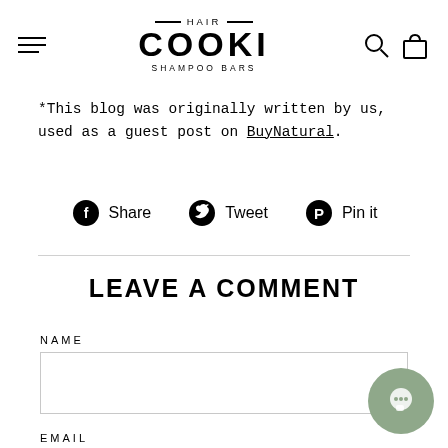HAIR COOKI SHAMPOO BARS — navigation header with hamburger menu, logo, search and cart icons
*This blog was originally written by us, used as a guest post on BuyNatural.
Share   Tweet   Pin it
LEAVE A COMMENT
NAME
EMAIL